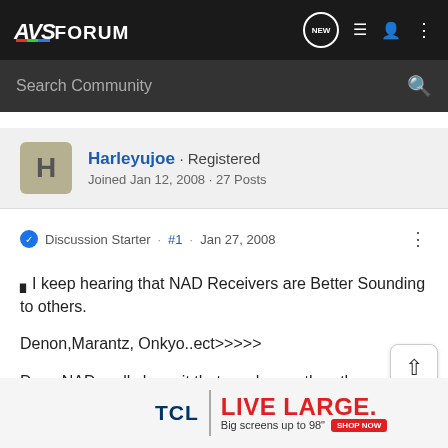AVS FORUM
Search Community
Harleyujoe · Registered
Joined Jan 12, 2008 · 27 Posts
Discussion Starter · #1 · Jan 27, 2008
🅘I keep hearing that NAD Receivers are Better Sounding to others.

Denon,Marantz, Onkyo..ect>>>>>

Does NAD really have it that much over the others or is it that some hear

sounds
[Figure (other): TCL advertisement banner: LIVE LARGE. Big screens up to 98". SHOP NOW button.]